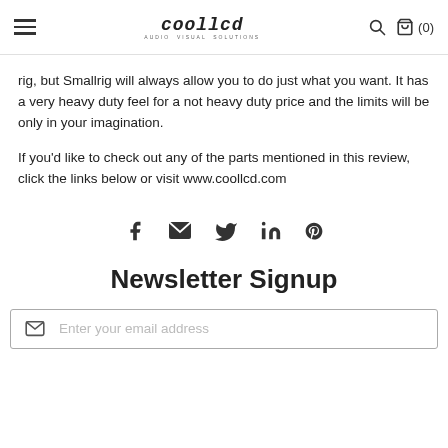coollcd
rig, but Smallrig will always allow you to do just what you want. It has a very heavy duty feel for a not heavy duty price and the limits will be only in your imagination.
If you'd like to check out any of the parts mentioned in this review, click the links below or visit www.coollcd.com
[Figure (infographic): Social share icons: Facebook, Email/Envelope, Twitter, LinkedIn, Pinterest]
Newsletter Signup
Enter your email address